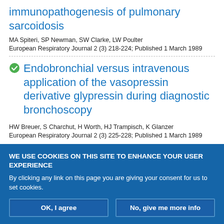immunopathogenesis of pulmonary sarcoidosis
MA Spiteri, SP Newman, SW Clarke, LW Poulter
European Respiratory Journal 2 (3) 218-224; Published 1 March 1989
Endobronchial versus intravenous application of the vasopressin derivative glypressin during diagnostic bronchoscopy
HW Breuer, S Charchut, H Worth, HJ Trampisch, K Glanzer
European Respiratory Journal 2 (3) 225-228; Published 1 March 1989
WE USE COOKIES ON THIS SITE TO ENHANCE YOUR USER EXPERIENCE
By clicking any link on this page you are giving your consent for us to set cookies.
OK, I agree
No, give me more info